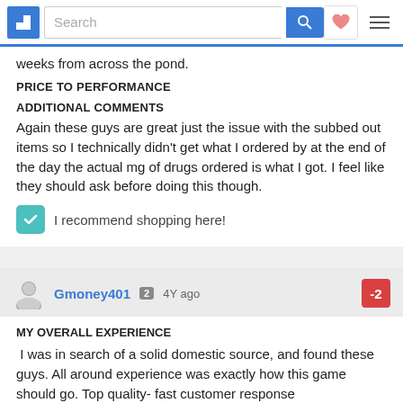Search [nav bar with search, heart, hamburger]
weeks from across the pond.
PRICE TO PERFORMANCE
ADDITIONAL COMMENTS
Again these guys are great just the issue with the subbed out items so I technically didn't get what I ordered by at the end of the day the actual mg of drugs ordered is what I got. I feel like they should ask before doing this though.
I recommend shopping here!
Gmoney401  2  4Y ago  -2
MY OVERALL EXPERIENCE
I was in search of a solid domestic source, and found these guys. All around experience was exactly how this game should go. Top quality- fast customer response
PRODUCTS, EFFECTIVENESS AND RESULTS